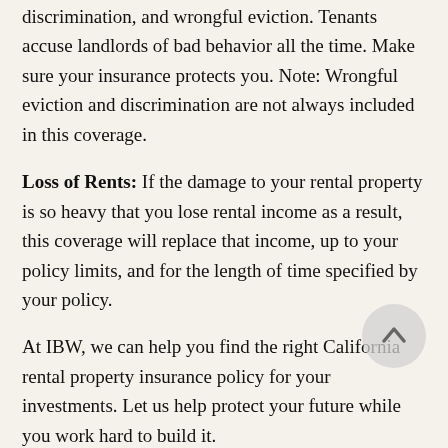discrimination, and wrongful eviction. Tenants accuse landlords of bad behavior all the time. Make sure your insurance protects you. Note: Wrongful eviction and discrimination are not always included in this coverage.
Loss of Rents: If the damage to your rental property is so heavy that you lose rental income as a result, this coverage will replace that income, up to your policy limits, and for the length of time specified by your policy.
At IBW, we can help you find the right California rental property insurance policy for your investments. Let us help protect your future while you work hard to build it.